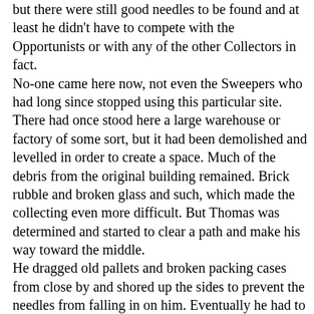but there were still good needles to be found and at least he didn't have to compete with the Opportunists or with any of the other Collectors in fact. No-one came here now, not even the Sweepers who had long since stopped using this particular site. There had once stood here a large warehouse or factory of some sort, but it had been demolished and levelled in order to create a space. Much of the debris from the original building remained. Brick rubble and broken glass and such, which made the collecting even more difficult. But Thomas was determined and started to clear a path and make his way toward the middle. He dragged old pallets and broken packing cases from close by and shored up the sides to prevent the needles from falling in on him. Eventually he had to add a roof section, using sheets of corrugated tin. And as he pushed his way deeper and deeper into the heap he added another of these sections and yet another and another. And from this vantage point Thomas hacked at the rock face, as it were. He collected the needles in heavy hessian sacks, rather than the flimsy plastic bags provided by the Agency, placing the good needles in one and in the other those that were misshapen and blunt. And as he worked below the needles rained down